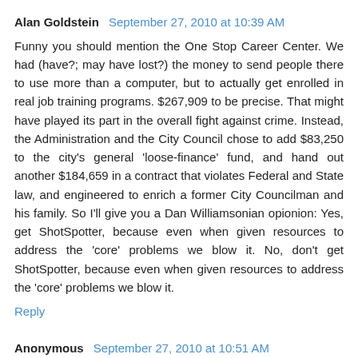Alan Goldstein  September 27, 2010 at 10:39 AM
Funny you should mention the One Stop Career Center. We had (have?; may have lost?) the money to send people there to use more than a computer, but to actually get enrolled in real job training programs. $267,909 to be precise. That might have played its part in the overall fight against crime. Instead, the Administration and the City Council chose to add $83,250 to the city's general 'loose-finance' fund, and hand out another $184,659 in a contract that violates Federal and State law, and engineered to enrich a former City Councilman and his family. So I'll give you a Dan Williamsonian opionion: Yes, get ShotSpotter, because even when given resources to address the 'core' problems we blow it. No, don't get ShotSpotter, because even when given resources to address the 'core' problems we blow it.
Reply
Anonymous  September 27, 2010 at 10:51 AM